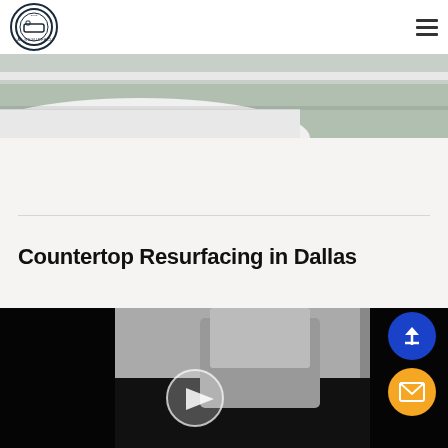Ideal Resurfacing logo and navigation menu
[Figure (photo): Close-up photo of a bathtub or countertop edge with white surface and sliding glass door track]
Countertop Resurfacing in Dallas
[Figure (screenshot): Video thumbnail showing a person in a grey shirt working on a countertop surface, with a play button overlay. Floating action buttons: upload arrow (blue) and email/envelope (orange).]